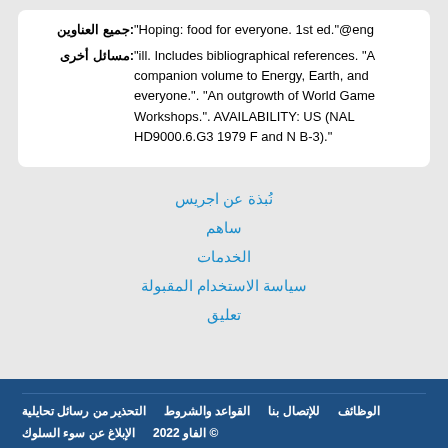جميع العناوين: "Hoping: food for everyone. 1st ed."@eng
مسائل أخرى: "ill. Includes bibliographical references. "A companion volume to Energy, Earth, and everyone.". "An outgrowth of World Game Workshops.". AVAILABILITY: US (NAL HD9000.6.G3 1979 F and N B-3)."
نُبذة عن اجريس
ساهم
الخدمات
سياسة الاستخدام المقبولة
تعليق
التحذير من رسائل تحايلية | القواعد والشروط | للإتصال بنا | الوظائف | الإبلاغ عن سوء السلوك | © الفاو 2022